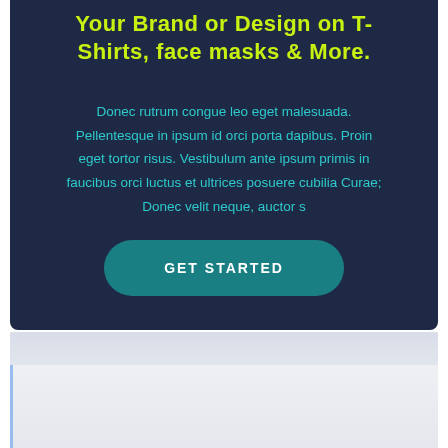Your Brand or Design on T-Shirts, face masks & More.
Donec rutrum congue leo eget malesuada. Pellentesque in ipsum id orci porta dapibus. Proin eget tortor risus. Vestibulum ante ipsum primis in faucibus orci luctus et ultrices posuere cubilia Curae; Donec velit neque, auctor s
[Figure (other): A teal rounded rectangle call-to-action button labeled GET STARTED]
[Figure (other): Light gray section with a white card panel with blue left border accent, partially visible at the bottom of the page]